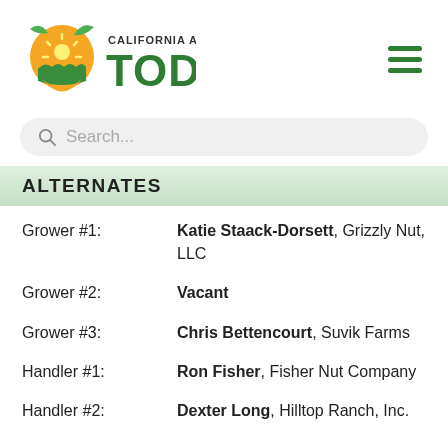[Figure (logo): California Ag Today logo with orange location pin graphic containing sun and crops, and green bold 'TODAY' text with 'CALIFORNIA AG' above]
ALTERNATES
Grower #1: Katie Staack-Dorsett, Grizzly Nut, LLC
Grower #2: Vacant
Grower #3: Chris Bettencourt, Suvik Farms
Handler #1: Ron Fisher, Fisher Nut Company
Handler #2: Dexter Long, Hilltop Ranch, Inc.